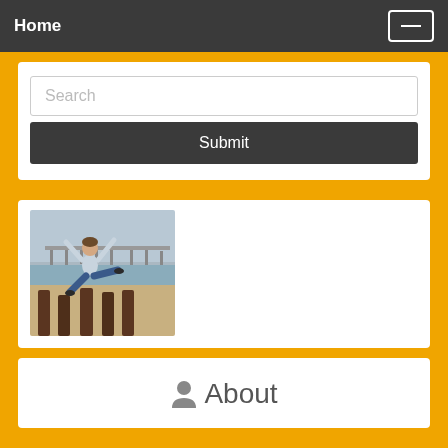Home
[Figure (screenshot): Search bar with placeholder text 'Search' and a dark Submit button below it, inside a white card on orange background]
[Figure (photo): A man posing with arms raised and one leg up on wooden beach posts, with a pier and grey sky in the background]
About